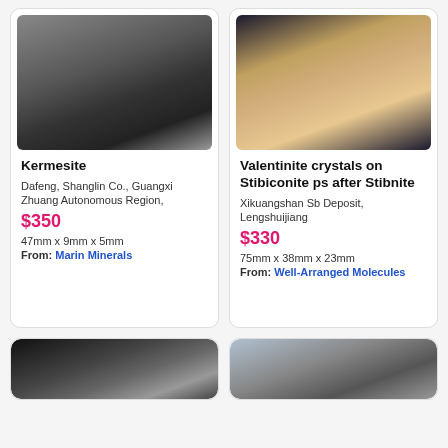[Figure (photo): Dark metallic Kermesite mineral specimen on gray gradient background]
Kermesite
Dafeng, Shanglin Co., Guangxi Zhuang Autonomous Region,
$350
47mm x 9mm x 5mm
From: Marin Minerals
[Figure (photo): Valentinite crystals on Stibiconite ps after Stibnite mineral specimen, tan and cream colored crystals on dark background]
Valentinite crystals on Stibiconite ps after Stibnite
Xikuangshan Sb Deposit, Lengshuijiang
$330
75mm x 38mm x 23mm
From: Well-Arranged Molecules
[Figure (photo): Partial view of dark mineral specimen at bottom left]
[Figure (photo): Partial view of gray-blue mineral specimen at bottom right]